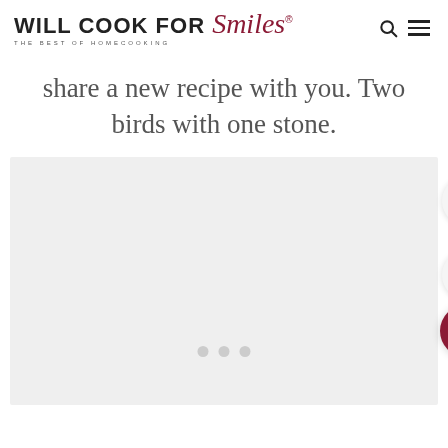WILL COOK FOR Smiles® THE BEST OF HOMECOOKING
share a new recipe with you. Two birds with one stone.
[Figure (screenshot): Light gray image placeholder area with three carousel navigation dots at bottom center, and three floating circular buttons on the right side: an upward chevron button, a number 60, a heart button, and a dark red search button.]